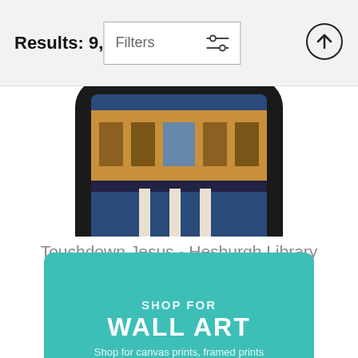Results: 9,981
[Figure (photo): Partial view of a rounded phone case showing the Touchdown Jesus / Hesburgh Library mural at the top of the product listing]
Touchdown Jesus - Hesburgh Library iPhone Case
Mountain Dreams ∨
$25
[Figure (infographic): Teal/turquoise promotional banner with text 'SHOP FOR WALL ART' and sub-caption 'Shop for canvas prints, framed prints']